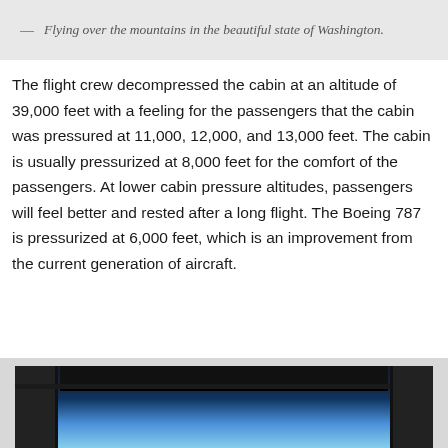— Flying over the mountains in the beautiful state of Washington.
The flight crew decompressed the cabin at an altitude of 39,000 feet with a feeling for the passengers that the cabin was pressured at 11,000, 12,000, and 13,000 feet. The cabin is usually pressurized at 8,000 feet for the comfort of the passengers. At lower cabin pressure altitudes, passengers will feel better and rested after a long flight. The Boeing 787 is pressurized at 6,000 feet, which is an improvement from the current generation of aircraft.
[Figure (photo): Cockpit window view showing blue sky, aircraft interior framing visible]